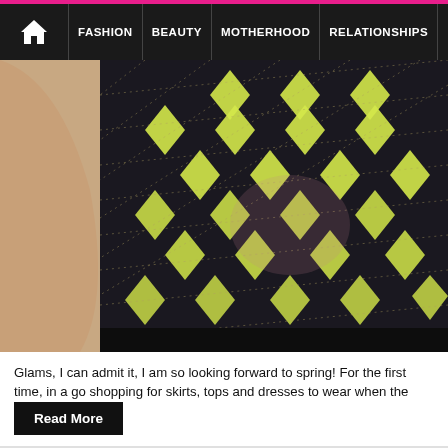FASHION | BEAUTY | MOTHERHOOD | RELATIONSHIPS | LIFESTYLE
[Figure (photo): Close-up of a person's arm alongside a black sequined top with yellow diamond pattern]
Glams, I can admit it, I am so looking forward to spring! For the first time, in a go shopping for skirts, tops and dresses to wear when the temperatures war
Read More